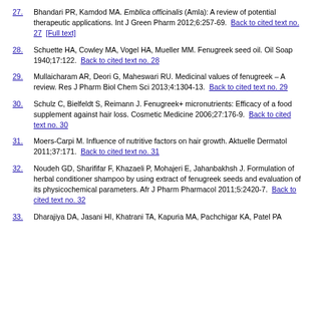27. Bhandari PR, Kamdod MA. Emblica officinalis (Amla): A review of potential therapeutic applications. Int J Green Pharm 2012;6:257-69. Back to cited text no. 27 [Full text]
28. Schuette HA, Cowley MA, Vogel HA, Mueller MM. Fenugreek seed oil. Oil Soap 1940;17:122. Back to cited text no. 28
29. Mullaicharam AR, Deori G, Maheswari RU. Medicinal values of fenugreek – A review. Res J Pharm Biol Chem Sci 2013;4:1304-13. Back to cited text no. 29
30. Schulz C, Bielfeldt S, Reimann J. Fenugreek+ micronutrients: Efficacy of a food supplement against hair loss. Cosmetic Medicine 2006;27:176-9. Back to cited text no. 30
31. Moers-Carpi M. Influence of nutritive factors on hair growth. Aktuelle Dermatol 2011;37:171. Back to cited text no. 31
32. Noudeh GD, Sharififar F, Khazaeli P, Mohajeri E, Jahanbakhsh J. Formulation of herbal conditioner shampoo by using extract of fenugreek seeds and evaluation of its physicochemical parameters. Afr J Pharm Pharmacol 2011;5:2420-7. Back to cited text no. 32
33. Dharajiya DA, Jasani HI, Khatrani TA, Kapuria MA, Pachchigar KA, Patel PA…